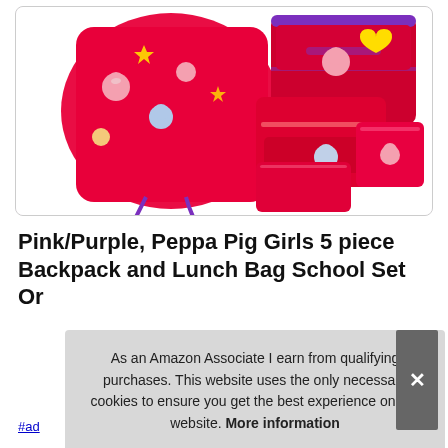[Figure (photo): Product photo of a pink/red Peppa Pig themed 5-piece backpack and lunch bag school set on white background. Items include a drawstring bag, a structured backpack, a lunch bag, a pencil case, and a small pouch, all featuring Peppa Pig character prints.]
Pink/Purple, Peppa Pig Girls 5 piece Backpack and Lunch Bag School Set Or...
As an Amazon Associate I earn from qualifying purchases. This website uses the only necessary cookies to ensure you get the best experience on our website. More information
#ad